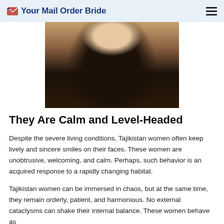Your Mail Order Bride
[Figure (photo): Photo of a young woman with long dark wavy hair, wearing a black outfit with a gold necklace, photographed from the chest up against a light background.]
They Are Calm and Level-Headed
Despite the severe living conditions, Tajikistan women often keep lively and sincere smiles on their faces. These women are unobtrusive, welcoming, and calm. Perhaps, such behavior is an acquired response to a rapidly changing habitat.
Tajikistan women can be immersed in chaos, but at the same time, they remain orderly, patient, and harmonious. No external cataclysms can shake their internal balance. These women behave as